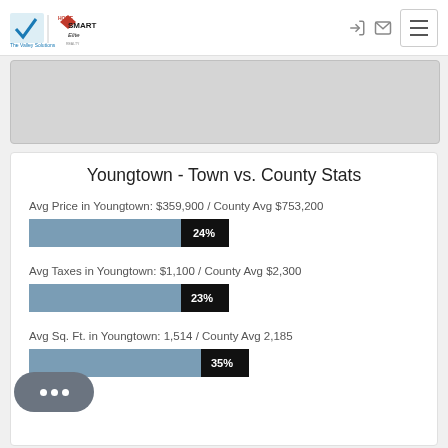[Figure (logo): The Valley Solutions Team and HomeSmart Elite logo]
[Figure (other): Gray placeholder card area (map or image content)]
Youngtown - Town vs. County Stats
Avg Price in Youngtown: $359,900 / County Avg $753,200
[Figure (bar-chart): Avg Price percentage bar]
Avg Taxes in Youngtown: $1,100 / County Avg $2,300
[Figure (bar-chart): Avg Taxes percentage bar]
Avg Sq. Ft. in Youngtown: 1,514 / County Avg 2,185
[Figure (bar-chart): Avg Sq Ft percentage bar]